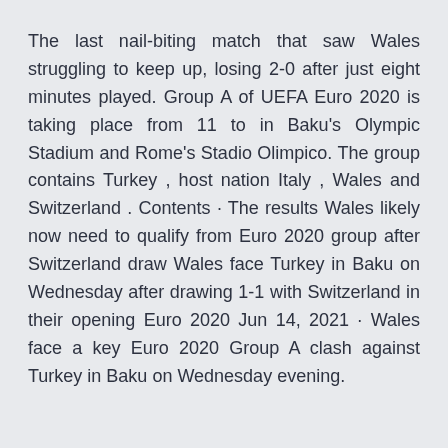The last nail-biting match that saw Wales struggling to keep up, losing 2-0 after just eight minutes played. Group A of UEFA Euro 2020 is taking place from 11 to in Baku's Olympic Stadium and Rome's Stadio Olimpico. The group contains Turkey , host nation Italy , Wales and Switzerland . Contents · The results Wales likely now need to qualify from Euro 2020 group after Switzerland draw Wales face Turkey in Baku on Wednesday after drawing 1-1 with Switzerland in their opening Euro 2020 Jun 14, 2021 · Wales face a key Euro 2020 Group A clash against Turkey in Baku on Wednesday evening.